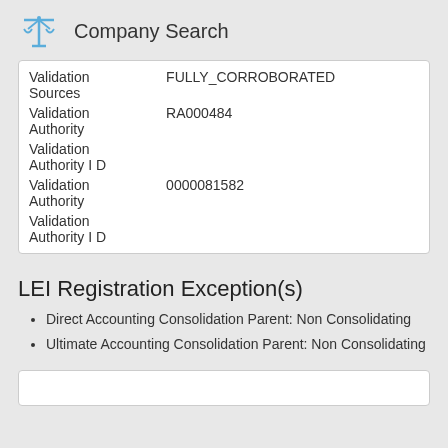Company Search
| Validation Sources | FULLY_CORROBORATED |
| Validation Authority | RA000484 |
| Validation Authority I D |  |
| Validation Authority | 0000081582 |
| Validation Authority I D |  |
LEI Registration Exception(s)
Direct Accounting Consolidation Parent: Non Consolidating
Ultimate Accounting Consolidation Parent: Non Consolidating